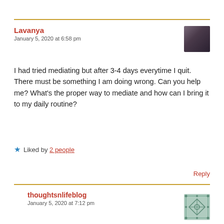Lavanya
January 5, 2020 at 6:58 pm
I had tried mediating but after 3-4 days everytime I quit. There must be something I am doing wrong. Can you help me? What's the proper way to mediate and how can I bring it to my daily routine?
★ Liked by 2 people
Reply
thoughtsnlifeblog
January 5, 2020 at 7:12 pm